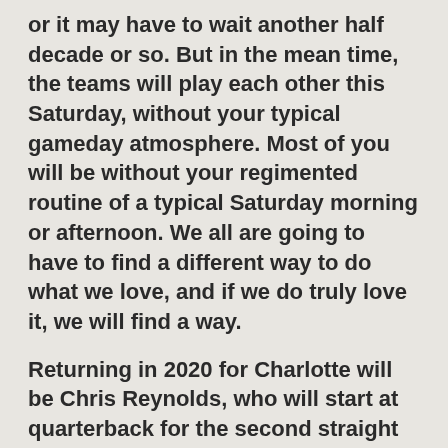or it may have to wait another half decade or so. But in the mean time, the teams will play each other this Saturday, without your typical gameday atmosphere. Most of you will be without your regimented routine of a typical Saturday morning or afternoon. We all are going to have to find a different way to do what we love, and if we do truly love it, we will find a way.
Returning in 2020 for Charlotte will be Chris Reynolds, who will start at quarterback for the second straight season. Last year, he set a school record for touchdown passes with 22, which included four scoring passes against App State. Reynolds also set school records with 2,564 passing yards in a season and also a single game mark of 354 yards against UTEP. Luckily for